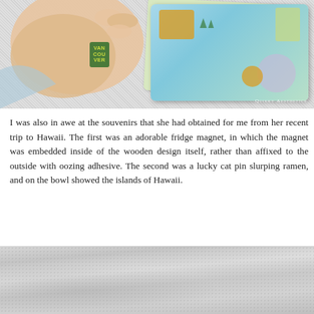[Figure (photo): A hand holding Vancouver-labeled souvenir cards/magnets with illustrated map designs over a gray carpet background. Bottom right corner shows watermark 'Quirky Aesthetics'.]
I was also in awe at the souvenirs that she had obtained for me from her recent trip to Hawaii. The first was an adorable fridge magnet, in which the magnet was embedded inside of the wooden design itself, rather than affixed to the outside with oozing adhesive. The second was a lucky cat pin slurping ramen, and on the bowl showed the islands of Hawaii.
[Figure (photo): Close-up photograph of a light gray textured surface, appearing to be carpet or fabric, slightly out of focus.]